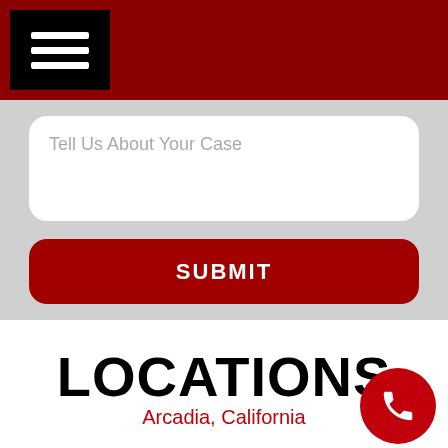Tell Us About Your Case
SUBMIT
LOCATIONS
Arcadia, California